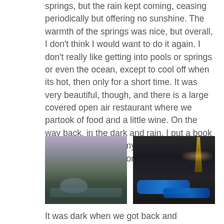springs, but the rain kept coming, ceasing periodically but offering no sunshine. The warmth of the springs was nice, but overall, I don't think I would want to do it again. I don't really like getting into pools or springs or even the ocean, except to cool off when its hot, then only for a short time. It was very beautiful, though, and there is a large covered open air restaurant where we partook of food and a little wine. On the way back, in the dark and rain, I put a book in my ears and kept my eyes closed. Much more relaxing than worrying about the driving.
[Figure (photo): Outdoor hot springs or pool area at dusk/cloudy weather with mountains and green vegetation in the background and steaming water in the foreground]
[Figure (photo): Night-time photo of illuminated blue swimming pools or hot springs with a palm tree on the right and city lights in the background against a dark sky]
It was dark when we got back and...